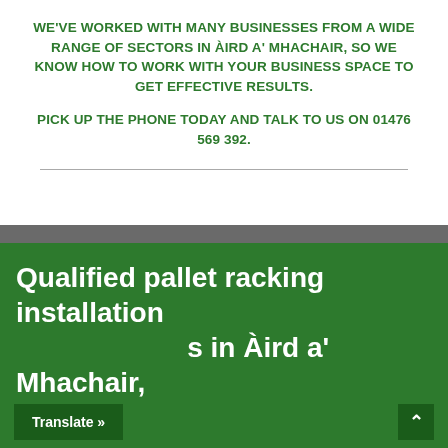WE'VE WORKED WITH MANY BUSINESSES FROM A WIDE RANGE OF SECTORS IN ÀIRD A' MHACHAIR, SO WE KNOW HOW TO WORK WITH YOUR BUSINESS SPACE TO GET EFFECTIVE RESULTS.
PICK UP THE PHONE TODAY AND TALK TO US ON 01476 569 392.
Qualified pallet racking installation s in Àird a' Mhachair,